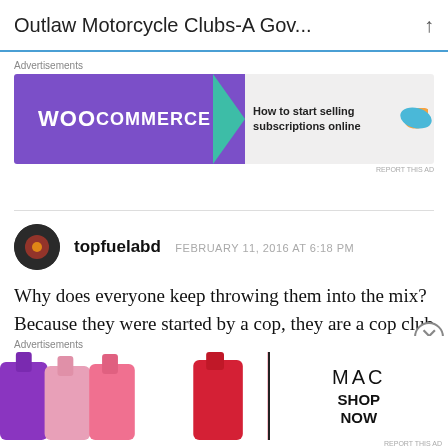Outlaw Motorcycle Clubs-A Gov...
Advertisements
[Figure (infographic): WooCommerce advertisement banner: purple background on left with WooCommerce logo and teal arrow shape, white/gray right side with text 'How to start selling subscriptions online' and orange and blue decorative shapes]
REPORT THIS AD
topfuelabd   FEBRUARY 11, 2016 AT 6:18 PM
Why does everyone keep throwing them into the mix? Because they were started by a cop, they are a cop club plain and simple. Regardless of what
Advertisements
[Figure (infographic): MAC cosmetics advertisement: lipstick tubes in purple, pink and red on the left, MAC logo and 'SHOP NOW' text box on the right]